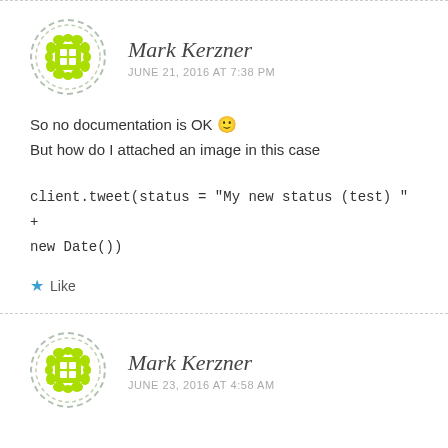[Figure (illustration): Green pixel/mosaic pattern avatar in dashed circle border]
Mark Kerzner
JUNE 21, 2016 AT 7:38 PM
So no documentation is OK 🙂
But how do I attached an image in this case
client.tweet(status = "My new status (test) " + new Date())
Like
[Figure (illustration): Green pixel/mosaic pattern avatar in dashed circle border]
Mark Kerzner
JUNE 23, 2016 AT 4:58 AM